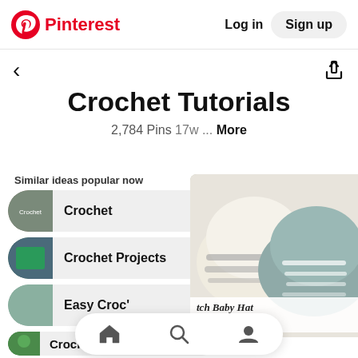Pinterest  Log in  Sign up
Crochet Tutorials
2,784 Pins 17w ... More
Similar ideas popular now
Crochet
Crochet Projects
Easy Croc'
Crochet Hats
[Figure (photo): Two crocheted baby hats, one cream/white with grey stripes and one grey/teal with white accents, overlapping on a light surface. Overlay text reads: 'tch Baby Hat CROCHET PATTERN']
Home, Search, Profile navigation icons